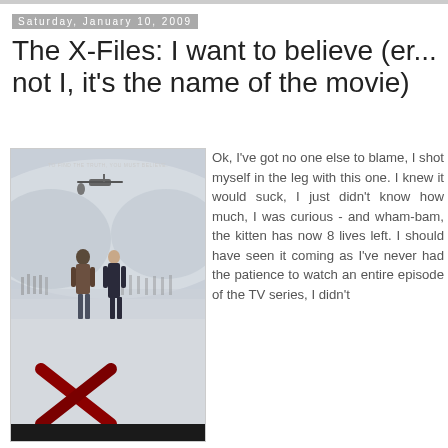Saturday, January 10, 2009
The X-Files: I want to believe (er... not I, it's the name of the movie)
[Figure (photo): X-Files: I Want to Believe movie poster showing two people walking on a snowy landscape with a blood-red X mark and text 'TO FIND THE TRUTH, YOU MUST BELIEVE.']
Ok, I've got no one else to blame, I shot myself in the leg with this one. I knew it would suck, I just didn't know how much, I was curious - and wham-bam, the kitten has now 8 lives left. I should have seen it coming as I've never had the patience to watch an entire episode of the TV series, I didn't